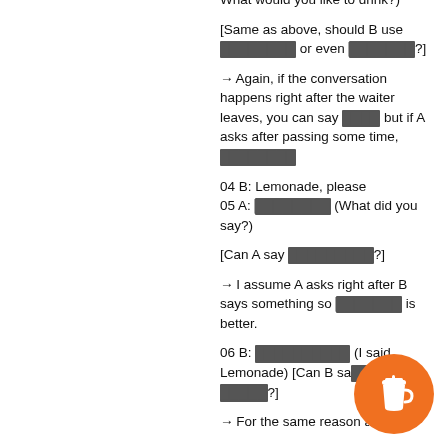What would you like to drink?)
[Same as above, should B use ████████ or even ███████?]
→ Again, if the conversation happens right after the waiter leaves, you can say ████ but if A asks after passing some time, ████████
04 B: Lemonade, please
05 A: ████████ (What did you say?)
[Can A say █████████?]
→ I assume A asks right after B says something so ███████ is better.
06 B: ██████████ (I said Lemonade) [Can B say ██████?]
→ For the same reason above,